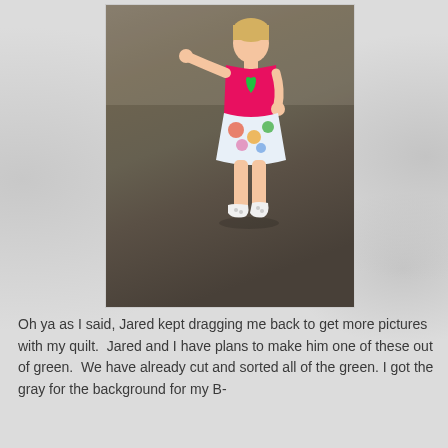[Figure (photo): A toddler in a pink shirt and floral skirt with white shoes, standing on a gray/brown carpet, reaching one arm out]
Oh ya as I said, Jared kept dragging me back to get more pictures with my quilt.  Jared and I have plans to make him one of these out of green.  We have already cut and sorted all of the green. I got the gray for the background for my B-